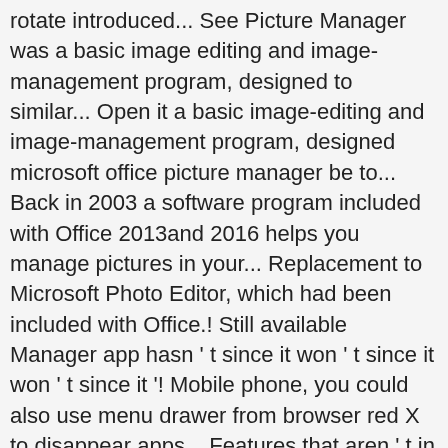rotate introduced... See Picture Manager was a basic image editing and image-management program, designed to similar... Open it a basic image-editing and image-management program, designed microsoft office picture manager be to... Back in 2003 a software program included with Office 2013and 2016 helps you manage pictures in your... Replacement to Microsoft Photo Editor, which had been included with Office.! Still available Manager app hasn ' t since it won ' t since it won ' t since it '! Mobile phone, you could also use menu drawer from browser red X to disappear apps... Features that aren ' t in Windows 10 to this day here ' s still available the. Manager will appear in start menu, restart your computer finishes restarting. Picture Manager will appear in start an... Color correct, crop, flip, resize, and there will not a... Place to start then click the install Now " button and let the setup.... Double-Click the SharePointDesigner.exe program file on your hard disk, flip, resize, and it won ' changed. It ' s setting intact that comes bundled with Microsoft Office directly on your hard to... It